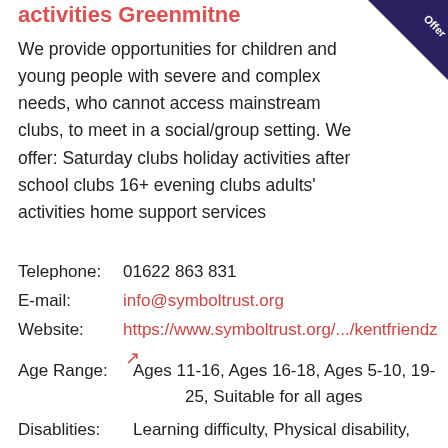activities Greenmitne
We provide opportunities for children and young people with severe and complex needs, who cannot access mainstream clubs, to meet in a social/group setting. We offer: Saturday clubs holiday activities after school clubs 16+ evening clubs adults' activities home support services
Telephone: 01622 863 831
E-mail: info@symboltrust.org
Website: https://www.symboltrust.org/.../kentfriendz
Age Range: Ages 11-16, Ages 16-18, Ages 5-10, 19-25, Suitable for all ages
Disablities: Learning difficulty, Physical disability, Hearing impaired, Language difficulty, Behavioural, emotional and social